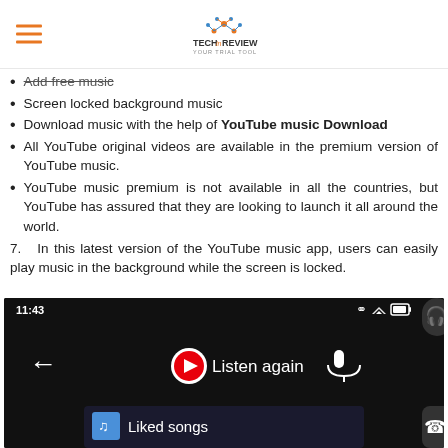TechInReview (logo)
Add free music
Screen locked background music
Download music with the help of YouTube music Download
All YouTube original videos are available in the premium version of YouTube music.
YouTube music premium is not available in all the countries, but YouTube has assured that they are looking to launch it all around the world.
7.   In this latest version of the YouTube music app, users can easily play music in the background while the screen is locked.
[Figure (screenshot): Screenshot of YouTube Music app showing 'Listen again' screen at 11:43 with Liked songs at the bottom]